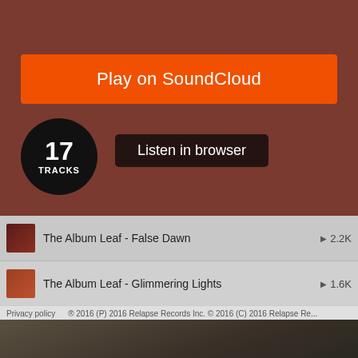[Figure (screenshot): SoundCloud embed player showing 'Play on SoundCloud' orange button, '17 TRACKS' circle badge, 'Listen in browser' dark button, and a list of 4 tracks by The Album Leaf with play counts]
Play on SoundCloud
17
TRACKS
Listen in browser
The Album Leaf - False Dawn  ▶ 2.2K
The Album Leaf - Glimmering Lights  ▶ 1.6K
The Album Leaf - New Soul  ▶ 1.8K
The Album Leaf - Back to the Start  ▶ 1K
Privacy policy    ® 2016 (P) 2016 Relapse Records Inc. © 2016 (C) 2016 Relapse Re...